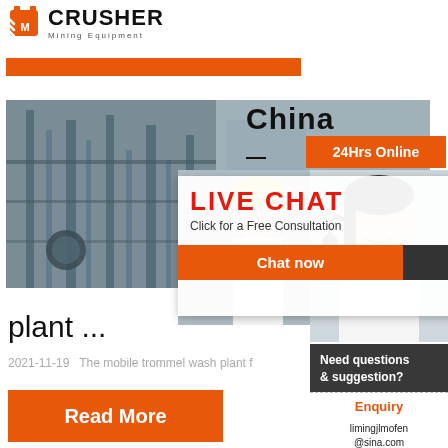[Figure (logo): Crusher Mining Equipment logo with red shopping bag icon and bold CRUSHER text]
[Figure (photo): Orange horizontal bar below logo]
[Figure (photo): Industrial plant/mining facility photo on left side]
China
[Figure (infographic): 24Hrs Online orange badge]
[Figure (infographic): Live Chat popup overlay with worker photos, LIVE CHAT title, Click for a Free Consultation text, Chat now and Chat later buttons]
[Figure (photo): Customer service representative with headset on right sidebar]
plant ...
[Figure (infographic): Need questions & suggestion? Chat Now box with dark background and enquiry/email sections]
2021-11-19   The mobile trommel wash plant f
[Figure (infographic): Read More orange button]